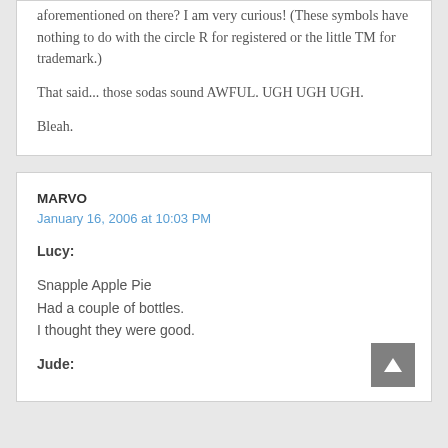aforementioned on there? I am very curious! (These symbols have nothing to do with the circle R for registered or the little TM for trademark.)
That said... those sodas sound AWFUL. UGH UGH UGH.
Bleah.
MARVO
January 16, 2006 at 10:03 PM
Lucy:
Snapple Apple Pie
Had a couple of bottles.
I thought they were good.
Jude: